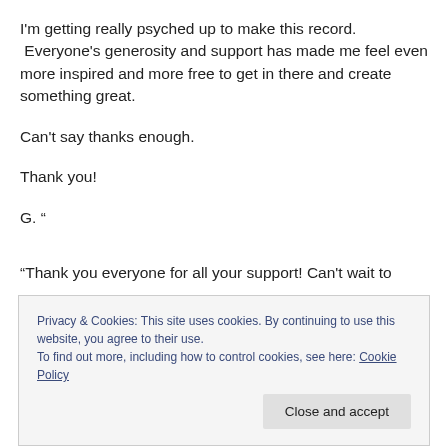I'm getting really psyched up to make this record. Everyone's generosity and support has made me feel even more inspired and more free to get in there and create something great.

Can't say thanks enough.

Thank you!

G. “
“Thank you everyone for all your support! Can’t wait to
Privacy & Cookies: This site uses cookies. By continuing to use this website, you agree to their use.
To find out more, including how to control cookies, see here: Cookie Policy
Close and accept